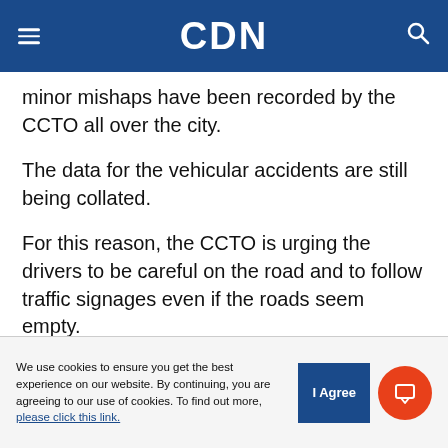CDN
minor mishaps have been recorded by the CCTO all over the city.
The data for the vehicular accidents are still being collated.
For this reason, the CCTO is urging the drivers to be careful on the road and to follow traffic signages even if the roads seem empty.
The CCTO also warns motorists and travellers that starting around 5 p.m., many parishes will be
We use cookies to ensure you get the best experience on our website. By continuing, you are agreeing to our use of cookies. To find out more, please click this link.